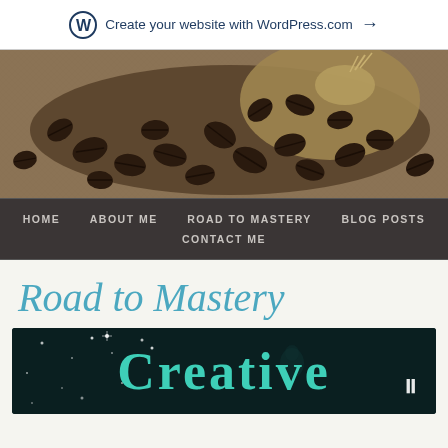Create your website with WordPress.com →
[Figure (photo): Coffee beans spilling out of a burlap sack on a burlap surface, overhead view, warm brown tones]
HOME   ABOUT ME   ROAD TO MASTERY   BLOG POSTS   CONTACT ME
Road to Mastery
[Figure (screenshot): Dark teal/black background with large teal text reading 'Creative' and sparkle/star decorations, with a pause button (double vertical bars) on the right]